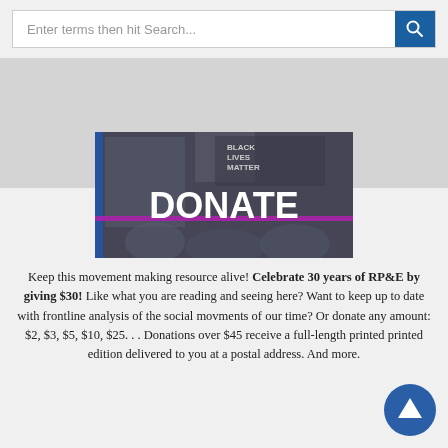Enter terms then hit Search...
[Figure (photo): DONATE banner over a photo of protesters holding signs including a 'Black Lives Matter' sign, with children in the foreground. A purple horizontal stripe crosses the image.]
Keep this movement making resource alive! Celebrate 30 years of RP&E by giving $30! Like what you are reading and seeing here? Want to keep up to date with frontline analysis of the social movments of our time? Or donate any amount: $2, $3, $5, $10, $25. . . Donations over $45 receive a full-length printed printed edition delivered to you at a postal address. And more.
[Figure (other): Scroll-to-top button: dark blue circle with white upward-pointing triangle/arrow.]